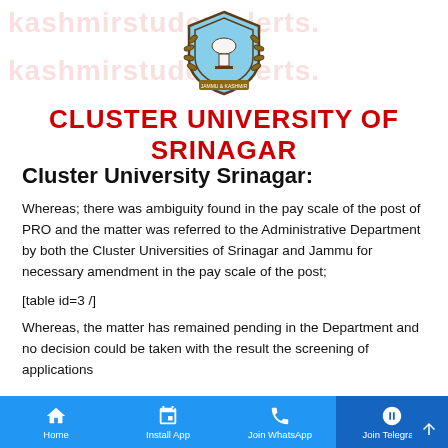[Figure (logo): Cluster University of Srinagar crest/shield logo with laurel branches]
CLUSTER UNIVERSITY OF SRINAGAR
Cluster University Srinagar:
Whereas; there was ambiguity found in the pay scale of the post of PRO and the matter was referred to the Administrative Department by both the Cluster Universities of Srinagar and Jammu for necessary amendment in the pay scale of the post;
[table id=3 /]
Whereas, the matter has remained pending in the Department and no decision could be taken with the result the screening of applications
Home   Install App   Join WhatsApp   Join Telegram